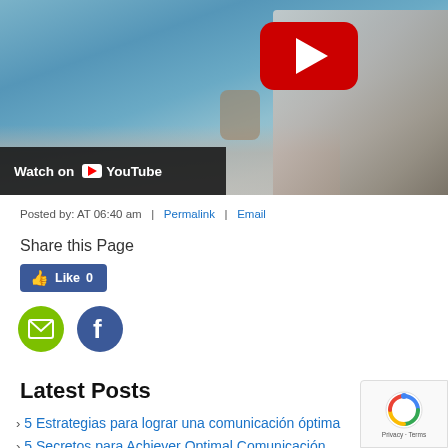[Figure (screenshot): YouTube video thumbnail showing a woman sitting cross-legged on a boat dock near water, with a large red YouTube play button in the upper center and a 'Watch on YouTube' overlay bar at the bottom left of the image]
Posted by: AT 06:40 am  |  Permalink  |  Email
Share this Page
[Figure (infographic): Facebook Like button showing thumbs up icon and 'Like 0']
[Figure (infographic): Social sharing icons: green email icon and blue Facebook icon]
Latest Posts
5 Estrategias para lograr una comunicación óptima
(partially visible second list item)